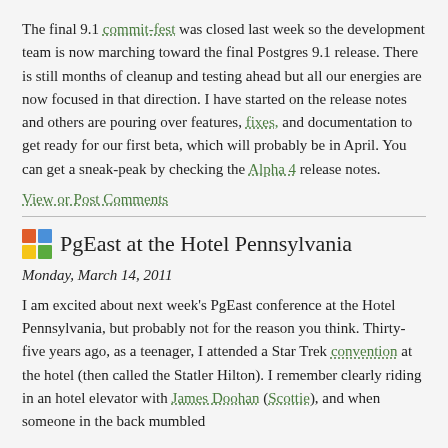The final 9.1 commit-fest was closed last week so the development team is now marching toward the final Postgres 9.1 release. There is still months of cleanup and testing ahead but all our energies are now focused in that direction. I have started on the release notes and others are pouring over features, fixes, and documentation to get ready for our first beta, which will probably be in April. You can get a sneak-peak by checking the Alpha 4 release notes.
View or Post Comments
PgEast at the Hotel Pennsylvania
Monday, March 14, 2011
I am excited about next week's PgEast conference at the Hotel Pennsylvania, but probably not for the reason you think. Thirty-five years ago, as a teenager, I attended a Star Trek convention at the hotel (then called the Statler Hilton). I remember clearly riding in an hotel elevator with James Doohan (Scottie), and when someone in the back mumbled